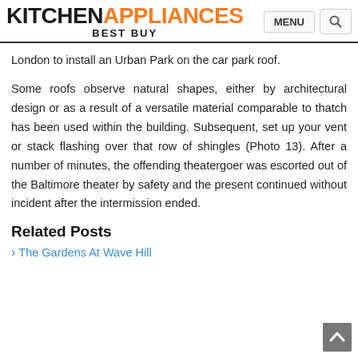KITCHEN APPLIANCES BEST BUY
London to install an Urban Park on the car park roof.
Some roofs observe natural shapes, either by architectural design or as a result of a versatile material comparable to thatch has been used within the building. Subsequent, set up your vent or stack flashing over that row of shingles (Photo 13). After a number of minutes, the offending theatergoer was escorted out of the Baltimore theater by safety and the present continued without incident after the intermission ended.
Related Posts
The Gardens At Wave Hill